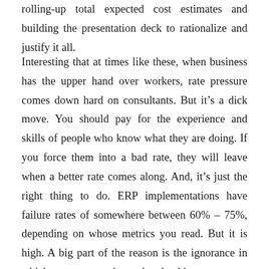rolling-up total expected cost estimates and building the presentation deck to rationalize and justify it all.
Interesting that at times like these, when business has the upper hand over workers, rate pressure comes down hard on consultants. But it’s a dick move. You should pay for the experience and skills of people who know what they are doing. If you force them into a bad rate, they will leave when a better rate comes along. And, it’s just the right thing to do. ERP implementations have failure rates of somewhere between 60% – 75%, depending on whose metrics you read. But it is high. A big part of the reason is the ignorance in which some companies undertake this